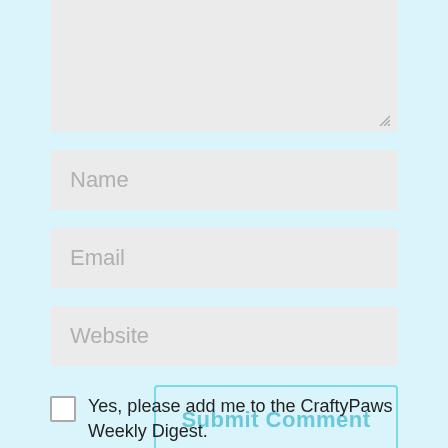[Figure (screenshot): Textarea input box (empty, light gray background with resize handle in lower right)]
Name
Email
Website
Submit Comment
Yes, please add me to the CraftyPaws Weekly Digest.